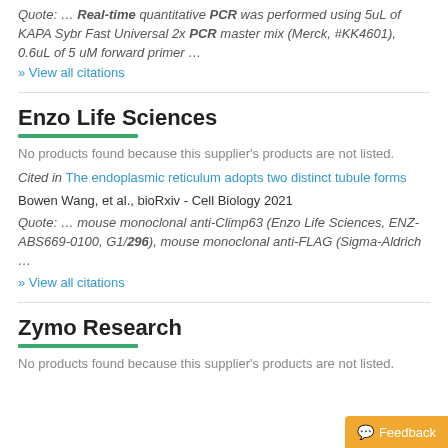Quote: … Real-time quantitative PCR was performed using 5uL of KAPA Sybr Fast Universal 2x PCR master mix (Merck, #KK4601), 0.6uL of 5 uM forward primer …
» View all citations
Enzo Life Sciences
No products found because this supplier's products are not listed.
Cited in The endoplasmic reticulum adopts two distinct tubule forms
Bowen Wang, et al., bioRxiv - Cell Biology 2021
Quote: … mouse monoclonal anti-Climp63 (Enzo Life Sciences, ENZ-ABS669-0100, G1/296), mouse monoclonal anti-FLAG (Sigma-Aldrich …
» View all citations
Zymo Research
No products found because this supplier's products are not listed.